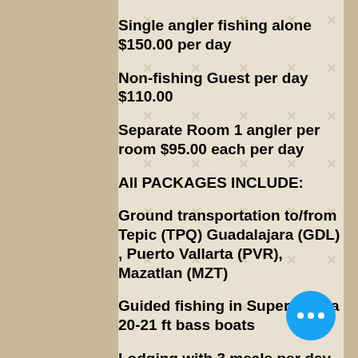Single angler fishing alone $150.00 per day
Non-fishing Guest per day $110.00
Separate Room 1 angler per room $95.00 each per day
All PACKAGES INCLUDE:
Ground transportation to/from Tepic (TPQ) Guadalajara (GDL) , Puerto Vallarta (PVR), Mazatlan (MZT)
Guided fishing in Super Panga 20-21 ft bass boats
Lodging with 3 meals per day, Unlimited beer, margaritas, soft drinks, juices, coffee, and bottled water